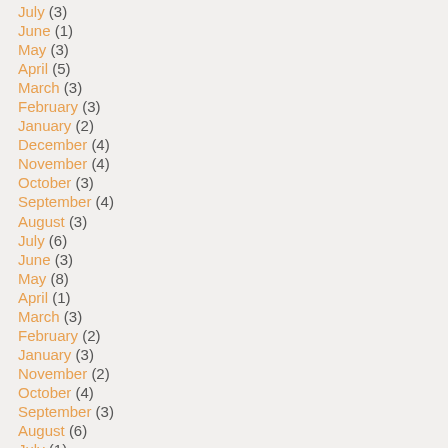July (3)
June (1)
May (3)
April (5)
March (3)
February (3)
January (2)
December (4)
November (4)
October (3)
September (4)
August (3)
July (6)
June (3)
May (8)
April (1)
March (3)
February (2)
January (3)
November (2)
October (4)
September (3)
August (6)
July (1)
June (1)
May (6)
April (3)
March (6)
February (3)
January (5)
December (4)